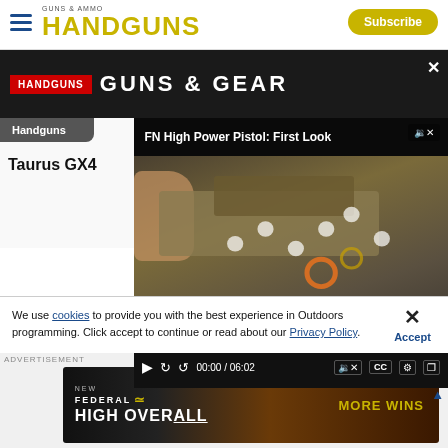HANDGUNS | Subscribe
[Figure (screenshot): Handguns website screenshot showing navigation bar with hamburger menu, Handguns logo in yellow, Subscribe button, a banner with HANDGUNS GUNS & GEAR text, a Handguns tab, partially visible article title Taurus GX4, and an embedded video player showing FN High Power Pistol: First Look with timestamp 00:00 / 06:02]
Taurus GX4
FN High Power Pistol: First Look
00:00 / 06:02
We use cookies to provide you with the best experience in Outdoors programming. Click accept to continue or read about our Privacy Policy.
Accept
[Figure (photo): Federal High Overall ammunition advertisement banner with dark background and orange embers/fire imagery, text reads NEW FEDERAL HIGH OVERALL MORE WINS]